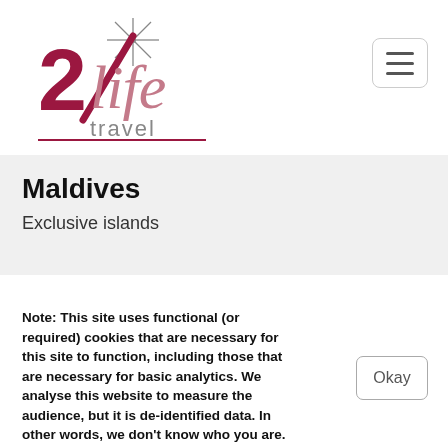[Figure (logo): 2life travel logo with star icon, red stylized '2life' text and grey 'travel' text below]
Maldives
Exclusive islands
Note: This site uses functional (or required) cookies that are necessary for this site to function, including those that are necessary for basic analytics. We analyse this website to measure the audience, but it is de-identified data. In other words, we don't know who you are.